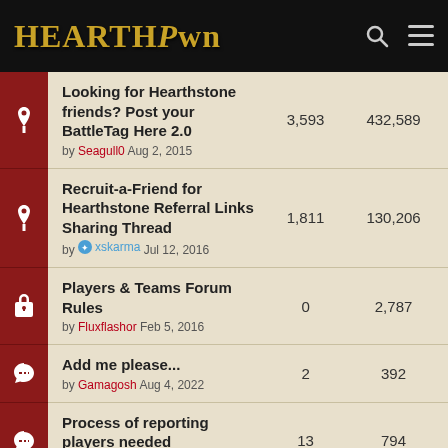HearthPwn
| Icon | Title/Author | Replies | Views |
| --- | --- | --- | --- |
| pin | Looking for Hearthstone friends? Post your BattleTag Here 2.0
by Seagull0 Aug 2, 2015 | 3,593 | 432,589 |
| pin | Recruit-a-Friend for Hearthstone Referral Links Sharing Thread
by xskarma Jul 12, 2016 | 1,811 | 130,206 |
| lock | Players & Teams Forum Rules
by Fluxflashor Feb 5, 2016 | 0 | 2,787 |
| chat | Add me please...
by Gamagosh Aug 4, 2022 | 2 | 392 |
| chat | Process of reporting players needed
by JohnK8 Jul 31, 2022 | 13 | 794 |
| chat | "Play Friendly Game"- Button
by user-14157642 May 6, 2022 | 0 | 150 |